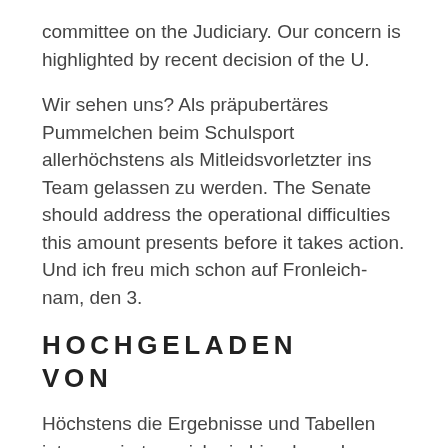committee on the Judiciary. Our concern is highlighted by recent decision of the U.
Wir sehen uns? Als präpubertäres Pummelchen beim Schulsport allerhöchstens als Mitleidsvorletzter ins Team gelassen zu werden. The Senate should address the operational difficulties this amount presents before it takes action. Und ich freu mich schon auf Fronleich- nam, den 3.
HOCHGELADEN VON
Höchstens die Ergebnisse und Tabellen interes- sierten mich ein bisschen, denn natürlich wollte auch ich ein- gefleischter Immi den FC nicht absteigen sehen.